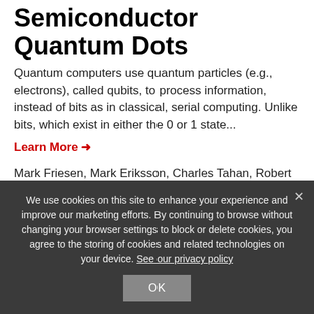Semiconductor Quantum Dots
Quantum computers use quantum particles (e.g., electrons), called qubits, to process information, instead of bits as in classical, serial computing. Unlike bits, which exist in either the 0 or 1 state...
Learn More →
Mark Friesen, Mark Eriksson, Charles Tahan, Robert Joynt | P04175US
Technology
Adaptive Cache Compression System
We use cookies on this site to enhance your experience and improve our marketing efforts. By continuing to browse without changing your browser settings to block or delete cookies, you agree to the storing of cookies and related technologies on your device. See our privacy policy
OK